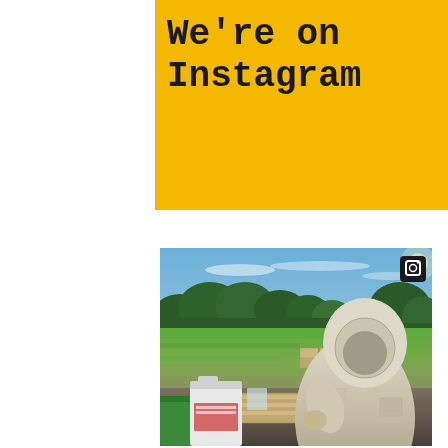We're on Instagram
[Figure (photo): A beekeeper in a white protective suit and veil working outdoors near beehives. Green field and trees in the background, blue sky above. Foreground shows a white plastic jug, a green bucket, wooden hive boxes, and other beekeeping supplies. An Instagram icon is visible in the top-right corner of the photo.]